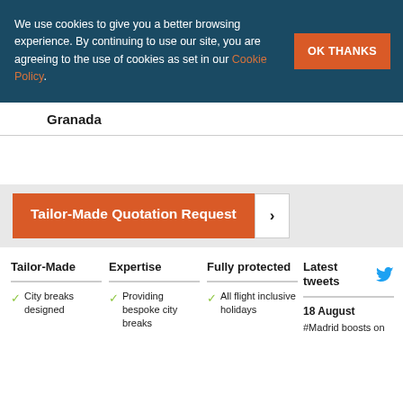We use cookies to give you a better browsing experience. By continuing to use our site, you are agreeing to the use of cookies as set in our Cookie Policy.
OK THANKS
Granada
Tailor-Made Quotation Request >
Tailor-Made
Expertise
Fully protected
Latest tweets
City breaks designed
Providing bespoke city breaks
All flight inclusive holidays
18 August
#Madrid boosts on